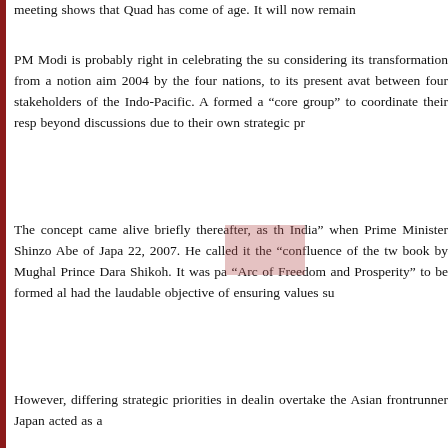meeting shows that Quad has come of age. It will now remain
PM Modi is probably right in celebrating the su considering its transformation from a notion aim 2004 by the four nations, to its present avat between four stakeholders of the Indo-Pacific. A formed a “core group” to coordinate their resp beyond discussions due to their own strategic pr
The concept came alive briefly thereafter, as th India” when Prime Minister Shinzo Abe of Japa 22, 2007. He called it the “confluence of the tw book by Mughal Prince Dara Shikoh. It was pa “Arc of Freedom and Prosperity” to be formed al had the laudable objective of ensuring values su
However, differing strategic priorities in dealin overtake the Asian frontrunner Japan acted as a